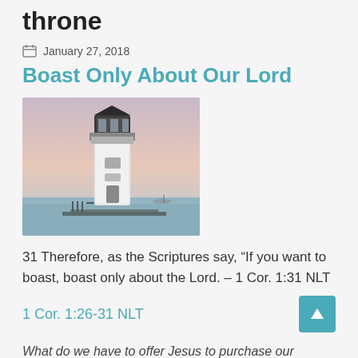throne
January 27, 2018
Boast Only About Our Lord
[Figure (photo): A white lighthouse with a dark lantern room at the top, situated on a pier or dock with water and a soft sunset sky in the background.]
31 Therefore, as the Scriptures say, “If you want to boast, boast only about the Lord. – 1 Cor. 1:31 NLT
1 Cor. 1:26-31 NLT
What do we have to offer Jesus to purchase our salvation? Wisdom? Our wisdom is foolishness to him